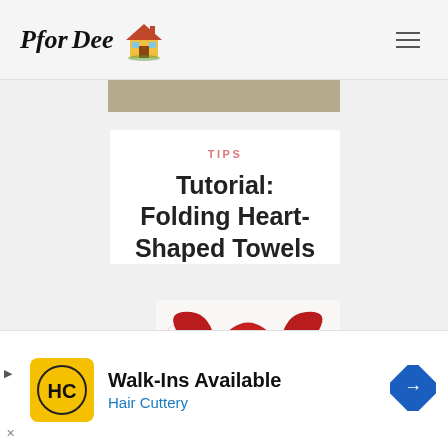PforDee [logo with house icon]
TIPS
Tutorial: Folding Heart-Shaped Towels
[Figure (photo): Heart-shaped red folded towels on a white decorative plate with floral pattern, with a steak knife across the front]
Walk-Ins Available
Hair Cuttery